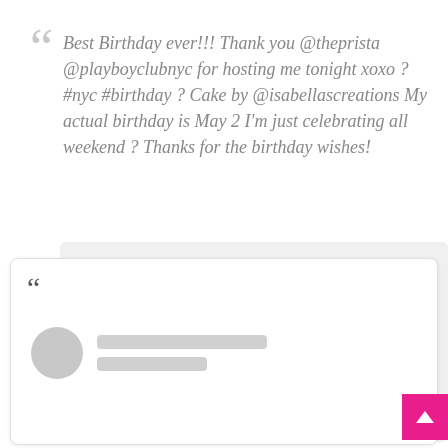Best Birthday ever!!! Thank you @theprista @playboyclubnyc for hosting me tonight xoxo ? #nyc #birthday ? Cake by @isabellascreations My actual birthday is May 2 I'm just celebrating all weekend ? Thanks for the birthday wishes!
[Figure (screenshot): A social media comment card with a large opening quotation mark, a blurred circular avatar and two blurred text lines representing a redacted user profile. A pink 'back to top' arrow button is visible in the bottom-right corner.]